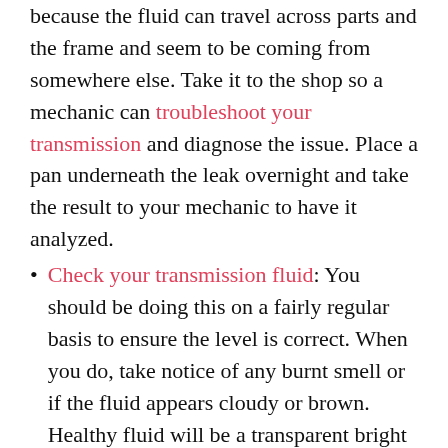because the fluid can travel across parts and the frame and seem to be coming from somewhere else. Take it to the shop so a mechanic can troubleshoot your transmission and diagnose the issue. Place a pan underneath the leak overnight and take the result to your mechanic to have it analyzed.
Check your transmission fluid: You should be doing this on a fairly regular basis to ensure the level is correct. When you do, take notice of any burnt smell or if the fluid appears cloudy or brown. Healthy fluid will be a transparent bright red and have a syrupy thickness.
All of these indicators are signs that something is wrong with your transmission. It might not be a